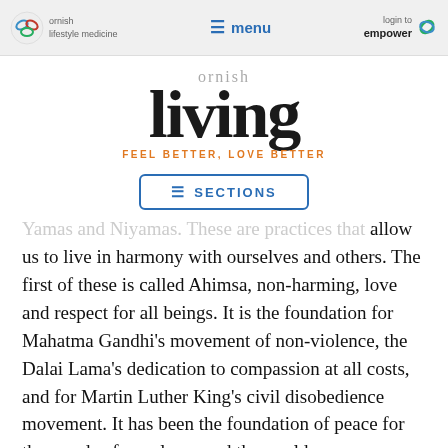ornish lifestyle medicine | menu | login to empower
[Figure (logo): Ornish Living logo with tagline 'FEEL BETTER, LOVE BETTER']
[Figure (other): SECTIONS navigation button]
Yamas and Niyamas. These are practices that allow us to live in harmony with ourselves and others. The first of these is called Ahimsa, non-harming, love and respect for all beings. It is the foundation for Mahatma Gandhi's movement of non-violence, the Dalai Lama's dedication to compassion at all costs, and for Martin Luther King's civil disobedience movement. It has been the foundation of peace for thousands of people around the world.